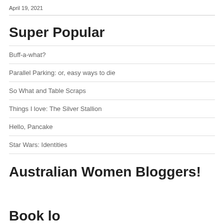April 19, 2021
Super Popular
Buff-a-what?
Parallel Parking: or, easy ways to die
So What and Table Scraps
Things I love: The Silver Stallion
Hello, Pancake
Star Wars: Identities
Australian Women Bloggers!
Book lo...